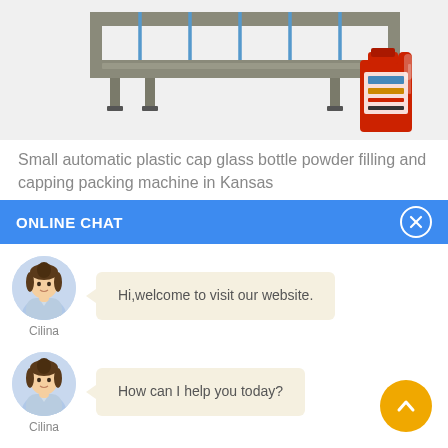[Figure (photo): Partial view of a small automatic filling and capping machine with a red oil bottle/container on the right side, on a white/gray background]
Small automatic plastic cap glass bottle powder filling and capping packing machine in Kansas
ONLINE CHAT
[Figure (photo): Avatar photo of a woman named Cilina in a light blue shirt]
Cilina
Hi,welcome to visit our website.
[Figure (photo): Avatar photo of a woman named Cilina in a light blue shirt]
Cilina
How can I help you today?